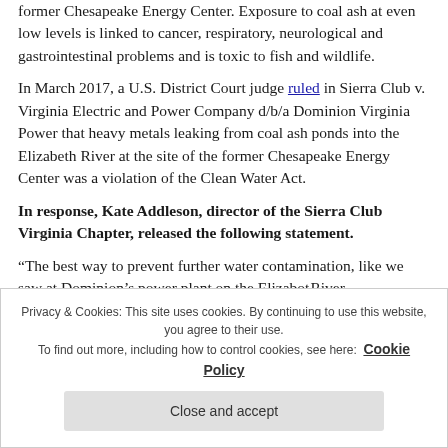Power Station, Possum Point Power Station and the former Chesapeake Energy Center. Exposure to coal ash at even low levels is linked to cancer, respiratory, neurological and gastrointestinal problems and is toxic to fish and wildlife.
In March 2017, a U.S. District Court judge ruled in Sierra Club v. Virginia Electric and Power Company d/b/a Dominion Virginia Power that heavy metals leaking from coal ash ponds into the Elizabeth River at the site of the former Chesapeake Energy Center was a violation of the Clean Water Act.
In response, Kate Addleson, director of the Sierra Club Virginia Chapter, released the following statement.
“The best way to prevent further water contamination, like we saw at Dominion’s power plant on the Elizabeth River
Privacy & Cookies: This site uses cookies. By continuing to use this website, you agree to their use.
To find out more, including how to control cookies, see here: Cookie Policy
Close and accept